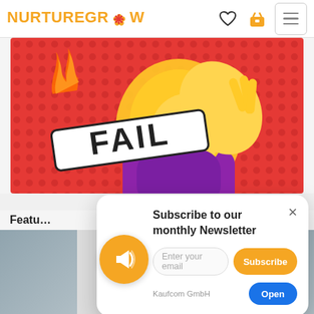NURTUREGROW
[Figure (illustration): Cartoon illustration with 'FAIL' text banner over a blonde character doing a facepalm gesture on a red dotted background]
Featu... ...est
[Figure (photo): Product images in a row at the bottom, partially visible]
[Figure (infographic): Newsletter subscription popup with megaphone icon, 'Subscribe to our monthly Newsletter' heading, email input field, Subscribe button, and close X button. Also shows 'Kaufcom GmbH' text and 'Open' button at bottom.]